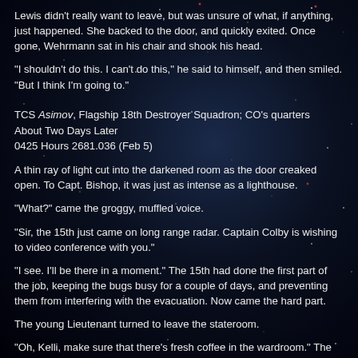Lewis didn't really want to leave, but was unsure of what, if anything, just happened. She backed to the door, and quickly exited. Once gone, Wehrmann sat in his chair and shook his head.
"I shouldn't do this. I can't do this," he said to himself, and then smiled. "But I think I'm going to."
TCS Asimov, Flagship 18th Destroyer Squadron; CO's quarters
About Two Days Later
0425 Hours 2681.036 (Feb 5)
A thin ray of light cut into the darkened room as the door creaked open. To Capt. Bishop, it was just as intense as a lighthouse.
"What?" came the groggy, muffled voice.
"Sir, the 15th just came on long range radar. Captain Colby is wishing to video conference with you."
"I see. I'll be there in a moment." The 15th had done the first part of the job, keeping the bugs busy for a couple of days, and preventing them from interfering with the evacuation. Now came the hard part.
The young Lieutenant turned to leave the stateroom.
"Oh, Kelli, make sure that there's fresh coffee in the wardroom." The